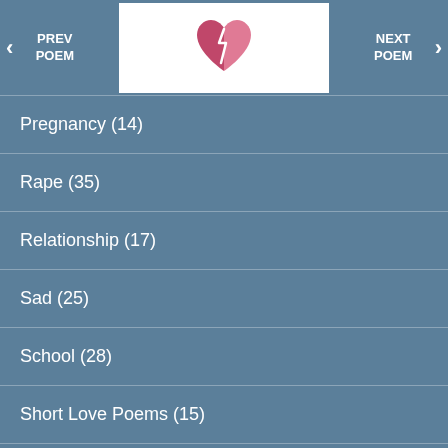PREV POEM | [logo] | NEXT POEM
Pregnancy (14)
Rape (35)
Relationship (17)
Sad (25)
School (28)
Short Love Poems (15)
Short Poems (20)
Sports (8)
STOP Cutting (26)
STOP Suicide (30)
Sweet Love (12)